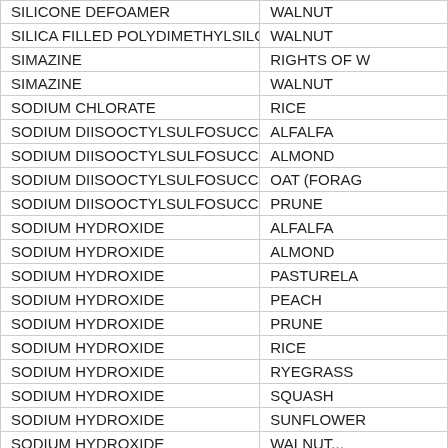| Chemical | Crop |
| --- | --- |
| SILICONE DEFOAMER | WALNUT |
| SILICA FILLED POLYDIMETHYLSILOXANE | WALNUT |
| SIMAZINE | RIGHTS OF W... |
| SIMAZINE | WALNUT |
| SODIUM CHLORATE | RICE |
| SODIUM DIISOOCTYLSULFOSUCCINATE | ALFALFA |
| SODIUM DIISOOCTYLSULFOSUCCINATE | ALMOND |
| SODIUM DIISOOCTYLSULFOSUCCINATE | OAT (FORAG... |
| SODIUM DIISOOCTYLSULFOSUCCINATE | PRUNE |
| SODIUM HYDROXIDE | ALFALFA |
| SODIUM HYDROXIDE | ALMOND |
| SODIUM HYDROXIDE | PASTURELA... |
| SODIUM HYDROXIDE | PEACH |
| SODIUM HYDROXIDE | PRUNE |
| SODIUM HYDROXIDE | RICE |
| SODIUM HYDROXIDE | RYEGRASS |
| SODIUM HYDROXIDE | SQUASH |
| SODIUM HYDROXIDE | SUNFLOWER |
| SODIUM HYDROXIDE | WALNUT... |